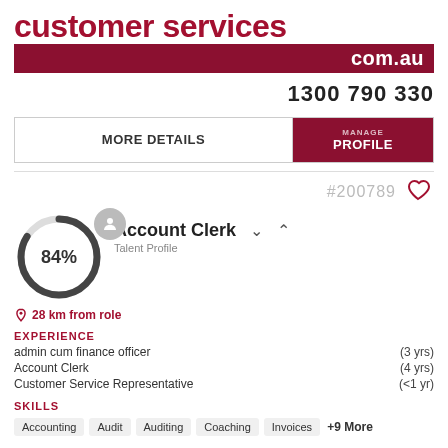customer services com.au
1300 790 330
MORE DETAILS | PROFILE
#200789
[Figure (infographic): Circular progress indicator showing 84% completion with a grey person avatar icon]
Account Clerk
Talent Profile
28 km from role
EXPERIENCE
admin cum finance officer  (3 yrs)
Account Clerk  (4 yrs)
Customer Service Representative  (<1 yr)
SKILLS
Accounting  Audit  Auditing  Coaching  Invoices  +9 More